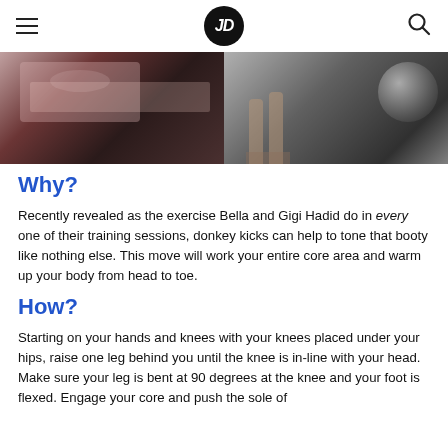JD (logo)
[Figure (photo): Two-panel fitness photo: left panel shows a person doing an exercise on a mat on a dark wood floor; right panel shows legs standing near a fitness ball on a grey floor.]
Why?
Recently revealed as the exercise Bella and Gigi Hadid do in every one of their training sessions, donkey kicks can help to tone that booty like nothing else. This move will work your entire core area and warm up your body from head to toe.
How?
Starting on your hands and knees with your knees placed under your hips, raise one leg behind you until the knee is in-line with your head. Make sure your leg is bent at 90 degrees at the knee and your foot is flexed. Engage your core and push the sole of